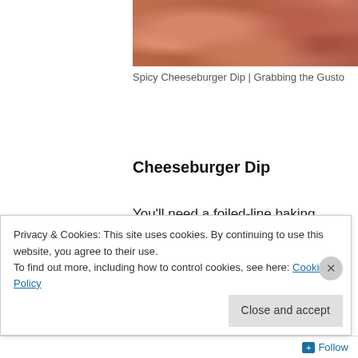[Figure (photo): Close-up photo of spicy cheeseburger dip, reddish-brown textured surface]
Spicy Cheeseburger Dip | Grabbing the Gusto
Cheeseburger Dip
You'll need a foiled-line baking pan, small bowl and plate or a sealable plastic bag, medium bowl and large saucepan.
1 jalapeno, cut in half, stem and
Privacy & Cookies: This site uses cookies. By continuing to use this website, you agree to their use.
To find out more, including how to control cookies, see here: Cookie Policy
Close and accept